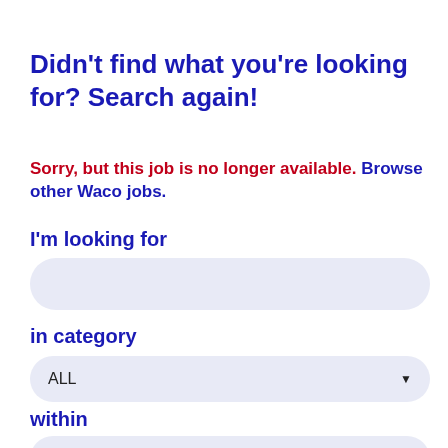Didn't find what you're looking for? Search again!
Sorry, but this job is no longer available. Browse other Waco jobs.
I'm looking for
in category
ALL
within
100 Miles of Waco